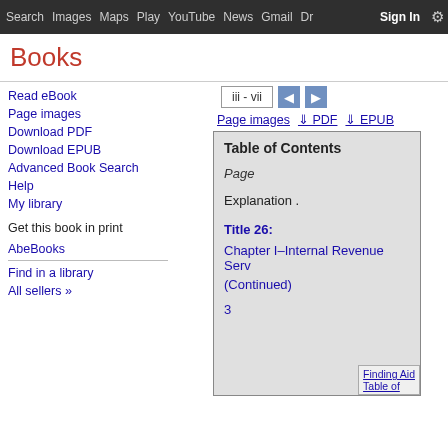Search  Images  Maps  Play  YouTube  News  Gmail  Drive  More  Sign In  ⚙
Books
Read eBook
Page images
Download PDF
Download EPUB
Advanced Book Search
Help
My library
Get this book in print
AbeBooks
Find in a library
All sellers »
[Figure (screenshot): Google Books page viewer showing Table of Contents with navigation controls (iii - vii), Page images, PDF, EPUB links, and book content showing Table of Contents with Page label, Explanation, Title 26, Chapter I–Internal Revenue Service (Continued), page number 3, and Finding Aid / Table of contents overlay]
Table of Contents
Page
Explanation .
Title 26:
Chapter I–Internal Revenue Service (Continued)
3